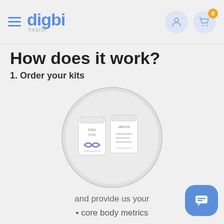digbi health
How does it work?
1. Order your kits
[Figure (photo): Two white product kit boxes (DNA and uBiome test kits) inside a circular frame on a light gray background.]
and provide us your
• core body metrics
• 6 blood markers
• Ayurveda phenotype
• food & lifestyle